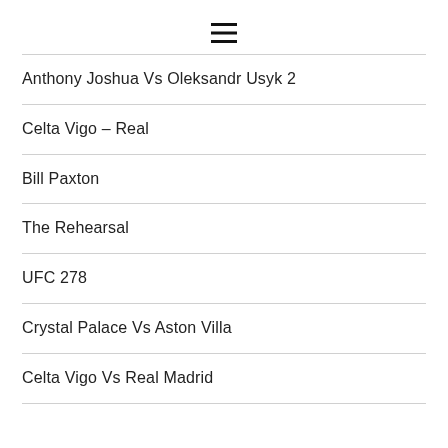[Figure (other): Hamburger menu icon (three horizontal lines)]
Anthony Joshua Vs Oleksandr Usyk 2
Celta Vigo – Real
Bill Paxton
The Rehearsal
UFC 278
Crystal Palace Vs Aston Villa
Celta Vigo Vs Real Madrid